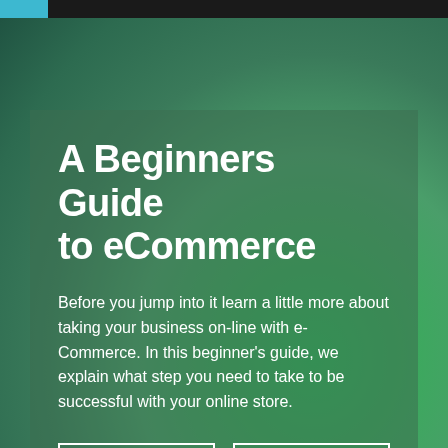A Beginners Guide to eCommerce
Before you jump into it learn a little more about taking your business on-line with e-Commerce. In this beginner's guide, we explain what step you need to take to be successful with your online store.
SEE ALL ARTICLES
SUBSCRIBE